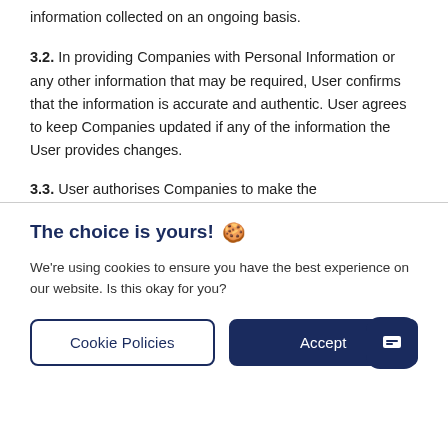information collected on an ongoing basis.
3.2. In providing Companies with Personal Information or any other information that may be required, User confirms that the information is accurate and authentic. User agrees to keep Companies updated if any of the information the User provides changes.
3.3. User authorises Companies to make the
The choice is yours! 🍪
We're using cookies to ensure you have the best experience on our website. Is this okay for you?
Cookie Policies | Accept